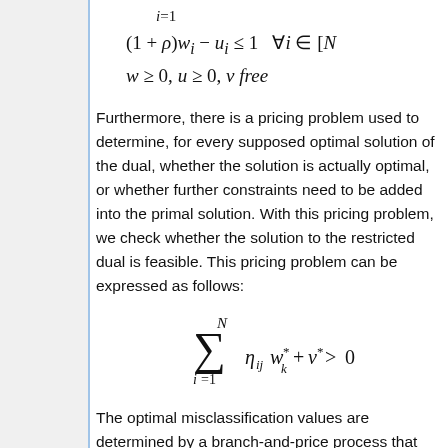Furthermore, there is a pricing problem used to determine, for every supposed optimal solution of the dual, whether the solution is actually optimal, or whether further constraints need to be added into the primal solution. With this pricing problem, we check whether the solution to the restricted dual is feasible. This pricing problem can be expressed as follows:
The optimal misclassification values are determined by a branch-and-price process that branches on the variables